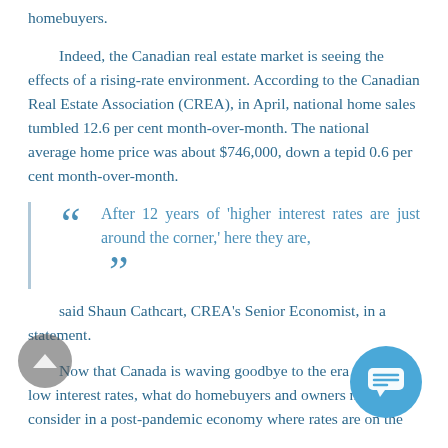homebuyers.
Indeed, the Canadian real estate market is seeing the effects of a rising-rate environment. According to the Canadian Real Estate Association (CREA), in April, national home sales tumbled 12.6 per cent month-over-month. The national average home price was about $746,000, down a tepid 0.6 per cent month-over-month.
“ After 12 years of ‘higher interest rates are just around the corner,’ here they are, ”
said Shaun Cathcart, CREA’s Senior Economist, in a statement.
Now that Canada is waving goodbye to the era of historic low interest rates, what do homebuyers and owners need to consider in a post-pandemic economy where rates are on the